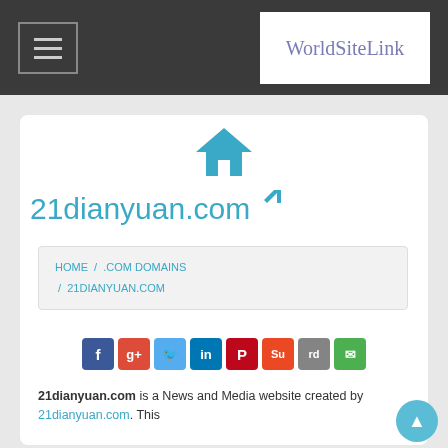WorldSiteLink
21dianyuan.com
HOME / .COM DOMAINS / 21DIANYUAN.COM
[Figure (infographic): Social sharing icons: Facebook, Google+, Twitter, LinkedIn, Pinterest, StumbleUpon, Reddit, Email]
21dianyuan.com is a News and Media website created by 21dianyuan.com. This